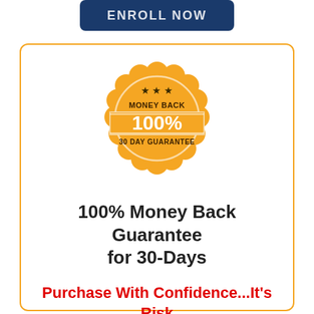[Figure (illustration): Dark navy blue rounded rectangle button with white bold text reading ENROLL NOW]
[Figure (illustration): Gold/orange scalloped seal badge with stars, 'MONEY BACK' text, '100%' in white on a gold banner, and '30 DAY GUARANTEE' below, all inside a rounded bordered box with yellow/gold border]
100% Money Back Guarantee for 30-Days
Purchase With Confidence...It's Risk Free!